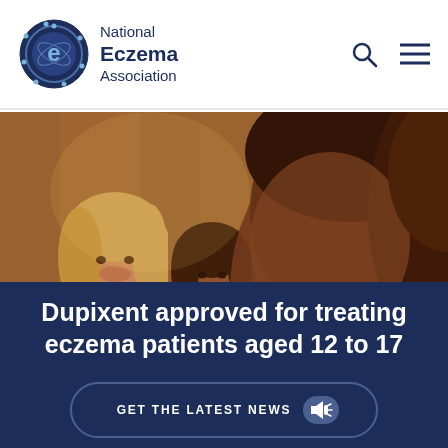National Eczema Association
[Figure (photo): Group of young women and girls smiling, warm indoor lighting, bokeh background]
Dupixent approved for treating eczema patients aged 12 to 17
GET THE LATEST NEWS